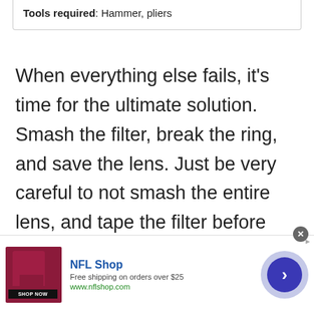Tools required: Hammer, pliers
When everything else fails, it's time for the ultimate solution. Smash the filter, break the ring, and save the lens. Just be very careful to not smash the entire lens, and tape the filter before smashing it.
[Figure (infographic): Advertisement banner for NFL Shop showing a red jersey/product image, NFL Shop logo text in blue, 'Free shipping on orders over $25', 'www.nflshop.com', a 'SHOP NOW' button, a close (X) button, and a blue arrow circle button on the right.]